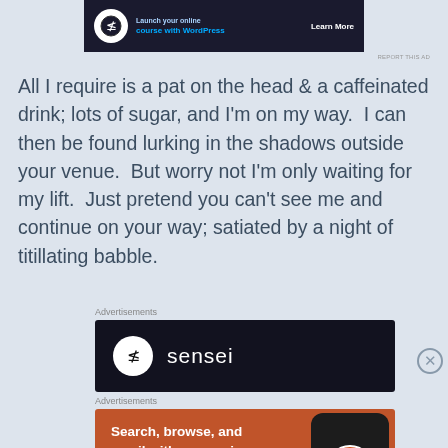[Figure (screenshot): Top advertisement banner for WordPress online course with dark background, icon, text, and Learn More button]
All I require is a pat on the head & a caffeinated drink; lots of sugar, and I'm on my way.  I can then be found lurking in the shadows outside your venue.  But worry not I'm only waiting for my lift.  Just pretend you can't see me and continue on your way; satiated by a night of titillating babble.
Advertisements
[Figure (screenshot): Sensei advertisement with dark background showing the Sensei logo and icon]
Advertisements
[Figure (screenshot): DuckDuckGo advertisement on orange background: Search, browse, and email with more privacy. All in One Free App. Shows phone with DuckDuckGo app icon.]